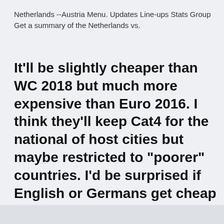Netherlands --Austria Menu. Updates Line-ups Stats Group Get a summary of the Netherlands vs.
It'll be slightly cheaper than WC 2018 but much more expensive than Euro 2016. I think they'll keep Cat4 for the national of host cities but maybe restricted to "poorer" countries. I'd be surprised if English or Germans get cheap cat4 options.